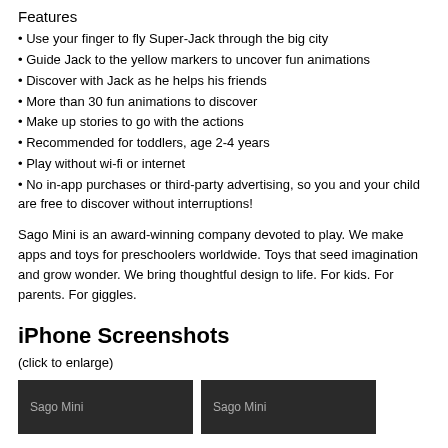Features
• Use your finger to fly Super-Jack through the big city
• Guide Jack to the yellow markers to uncover fun animations
• Discover with Jack as he helps his friends
• More than 30 fun animations to discover
• Make up stories to go with the actions
• Recommended for toddlers, age 2-4 years
• Play without wi-fi or internet
• No in-app purchases or third-party advertising, so you and your child are free to discover without interruptions!
Sago Mini is an award-winning company devoted to play. We make apps and toys for preschoolers worldwide. Toys that seed imagination and grow wonder. We bring thoughtful design to life. For kids. For parents. For giggles.
iPhone Screenshots
(click to enlarge)
[Figure (screenshot): Two dark-background screenshot thumbnails labeled Sago Mini]